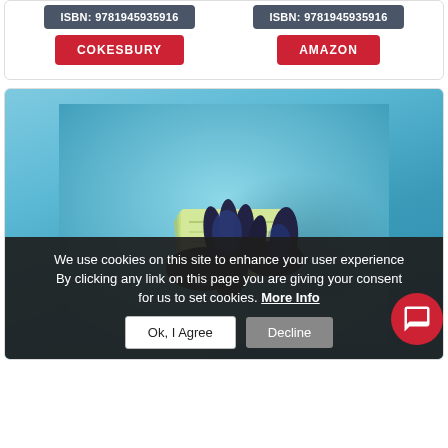ISBN: 9781945935916
COKESBURY
ISBN: 9781945935916
AMAZON
[Figure (photo): Person wearing black gloves holding a stack of money/cash against a teal/blue background]
We use cookies on this site to enhance your user experience By clicking any link on this page you are giving your consent for us to set cookies. More Info
Ok, I Agree
Decline